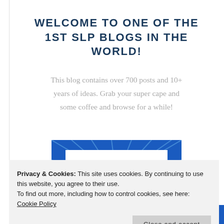WELCOME TO ONE OF THE 1ST SLP BLOGS IN THE WORLD!
This blog contains over 700 posts and 10+ years of ideas. Grab your super cape and some coffee and browse for a while!
[Figure (illustration): Comic-book style image with blue burst background and white central area showing 'BE SUPER!' text in red bold comic font]
Privacy & Cookies: This site uses cookies. By continuing to use this website, you agree to their use.
To find out more, including how to control cookies, see here: Cookie Policy
Close and accept
to receive exclusive